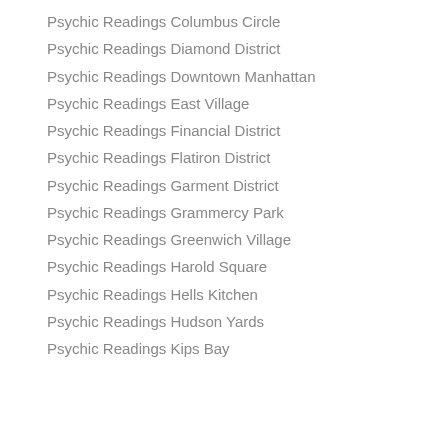Psychic Readings Columbus Circle
Psychic Readings Diamond District
Psychic Readings Downtown Manhattan
Psychic Readings East Village
Psychic Readings Financial District
Psychic Readings Flatiron District
Psychic Readings Garment District
Psychic Readings Grammercy Park
Psychic Readings Greenwich Village
Psychic Readings Harold Square
Psychic Readings Hells Kitchen
Psychic Readings Hudson Yards
Psychic Readings Kips Bay